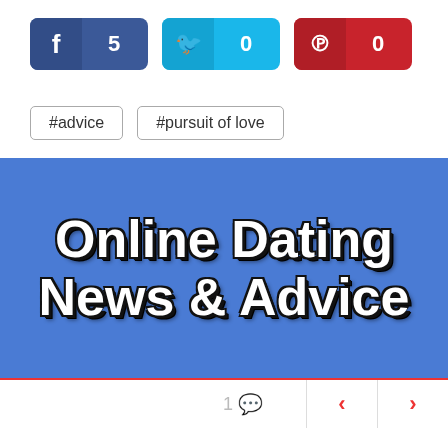[Figure (screenshot): Social share buttons: Facebook with count 5, Twitter with count 0, Pinterest with count 0]
#advice
#pursuit of love
[Figure (illustration): Blue banner with bold white text reading 'Online Dating News & Advice' with black text shadow]
1 comment · left arrow · right arrow